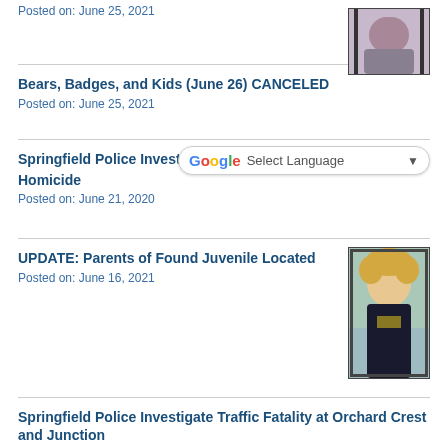Posted on: June 25, 2021
[Figure (photo): Small thumbnail photo of a person]
Bears, Badges, and Kids (June 26) CANCELED
Posted on: June 25, 2021
Springfield Police Investigate N. B... Homicide
[Figure (infographic): Google Translate widget - Select Language dropdown]
Posted on: June 21, 2020
UPDATE: Parents of Found Juvenile Located
Posted on: June 16, 2021
[Figure (photo): Photo of a young child with curly blonde hair wearing a dark shirt]
Springfield Police Investigate Traffic Fatality at Orchard Crest and Junction
Posted on: June 11, 2021